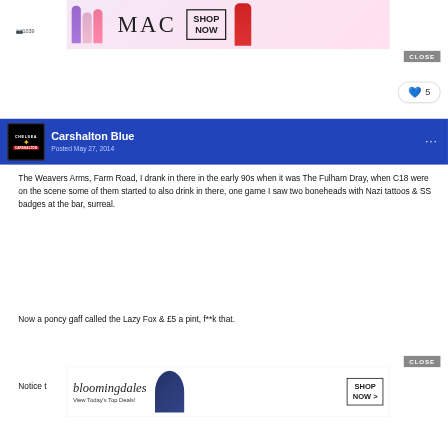[Figure (screenshot): MAC cosmetics advertisement banner with lipsticks and SHOP NOW button]
[Figure (screenshot): Close button for top ad]
[Figure (screenshot): Like button showing heart icon and count of 5]
[Figure (screenshot): User profile header with Chelsea/Carshalton avatar, username Carshalton Blue, Posted May 27 2014]
The Weavers Arms, Farm Road, I drank in there in the early 90s when it was The Fulham Dray, when C18 were on the scene some of them started to also drink in there, one game I saw two boneheads with Nazi tattoos & SS badges at the bar, surreal.
Now a poncy gaff called the Lazy Fox & £5 a pint, f**k that.
[Figure (screenshot): Close button for bottom ad]
[Figure (screenshot): Bloomingdales advertisement banner with SHOP NOW button]
Notice t